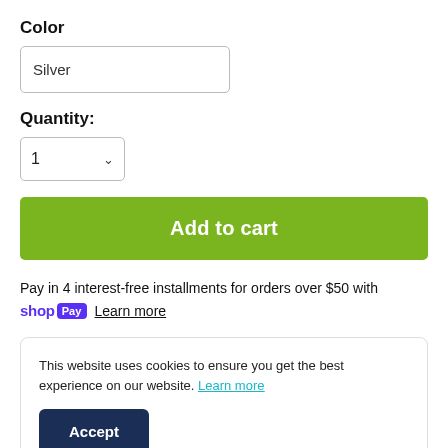Color
Silver
Quantity:
1
Add to cart
Pay in 4 interest-free installments for orders over $50 with
shop Pay  Learn more
This website uses cookies to ensure you get the best experience on our website. Learn more
Accept